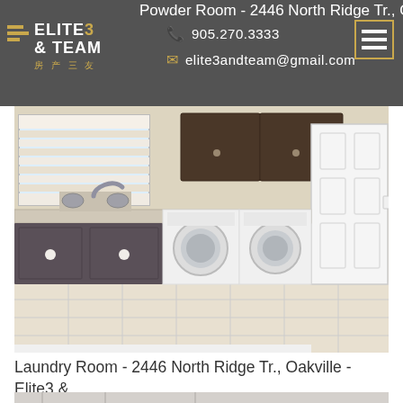Powder Room - 2446 North Ridge Tr., Oakville - Elite3 & Team | 905.270.3333 | elite3andteam@gmail.com
[Figure (photo): Laundry room interior with dark grey cabinets, granite countertop, stainless faucet, side-by-side washer and dryer, upper dark wood cabinets, white door, and beige tile floor]
Laundry Room - 2446 North Ridge Tr., Oakville - Elite3 & Team
[Figure (photo): Partially visible room photo at bottom of page]